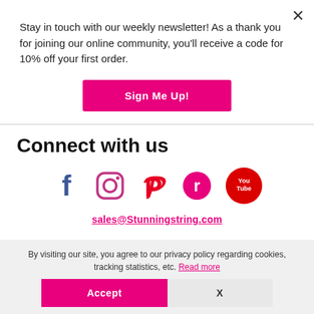Stay in touch with our weekly newsletter! As a thank you for joining our online community, you'll receive a code for 10% off your first order.
Sign Me Up!
Connect with us
[Figure (infographic): Social media icons: Facebook, Instagram, Pinterest, Ravelry, YouTube]
sales@Stunningstring.com
By visiting our site, you agree to our privacy policy regarding cookies, tracking statistics, etc. Read more
Accept
X